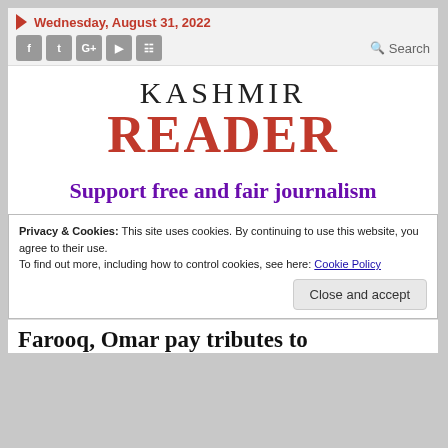Wednesday, August 31, 2022
KASHMIR READER
Support free and fair journalism
Privacy & Cookies: This site uses cookies. By continuing to use this website, you agree to their use.
To find out more, including how to control cookies, see here: Cookie Policy
Close and accept
Farooq, Omar pay tributes to